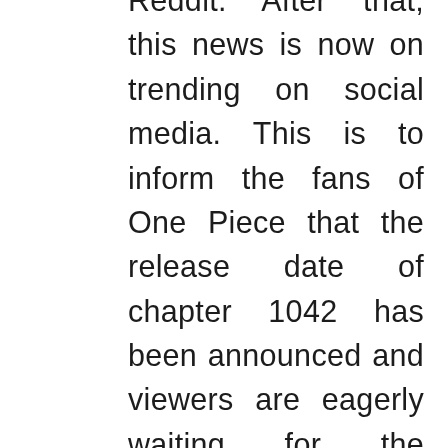Reddit. After that, this news is now on trending on social media. This is to inform the fans of One Piece that the release date of chapter 1042 has been announced and viewers are eagerly waiting for the upcoming chapter of the manga series and curious to know what is going to happen in chapter 1042. Many speculations are being made regarding the fight between Kaido and Luffy. Regarding chapter 1042 and Luffy's conflict with Kaido information have been given in this article so keep reading this article as here everything important for its